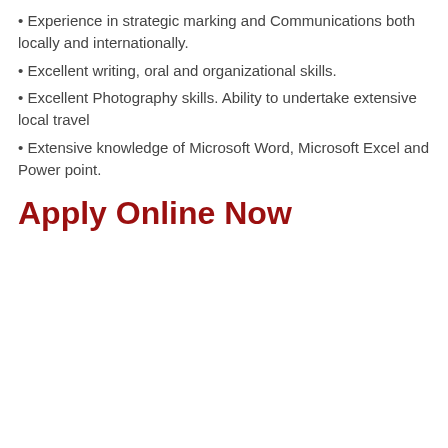Experience in strategic marking and Communications both locally and internationally.
Excellent writing, oral and organizational skills.
Excellent Photography skills. Ability to undertake extensive local travel
Extensive knowledge of Microsoft Word, Microsoft Excel and Power point.
Apply Online Now